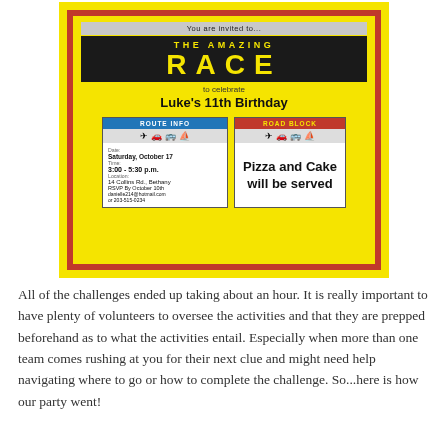[Figure (photo): A birthday party invitation styled like The Amazing Race TV show. Yellow card with black block showing 'THE AMAZING RACE' in yellow letters. Text reads 'to celebrate Luke's 11th Birthday'. Two smaller cards shown: a blue 'ROUTE INFO' card with event details (Date: Saturday, October 17; Time: 3:00-5:30 p.m.; Location: 14 Collins Rd., Bethany; RSVP By October 10th; email and phone number) and a red 'ROAD BLOCK' card stating 'Pizza and Cake will be served'.]
All of the challenges ended up taking about an hour. It is really important to have plenty of volunteers to oversee the activities and that they are prepped beforehand as to what the activities entail. Especially when more than one team comes rushing at you for their next clue and might need help navigating where to go or how to complete the challenge. So...here is how our party went!